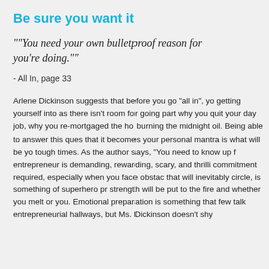Be sure you want it
""You need your own bulletproof reason for you're doing.""
- All In, page 33
Arlene Dickinson suggests that before you go “all in”, you getting yourself into as there isn’t room for going part why you quit your day job, why you re-mortgaged the ho burning the midnight oil. Being able to answer this ques that it becomes your personal mantra is what will be yo tough times. As the author says, “You need to know up f entrepreneur is demanding, rewarding, scary, and thrilli commitment required, especially when you face obstac that will inevitably circle, is something of superhero pr strength will be put to the fire and whether you melt or you. Emotional preparation is something that few talk entrepreneurial hallways, but Ms. Dickinson doesn’t shy